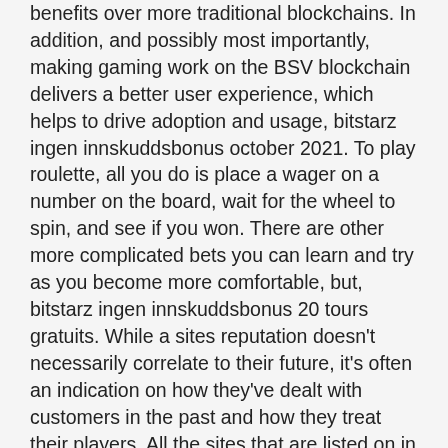benefits over more traditional blockchains. In addition, and possibly most importantly, making gaming work on the BSV blockchain delivers a better user experience, which helps to drive adoption and usage, bitstarz ingen innskuddsbonus october 2021. To play roulette, all you do is place a wager on a number on the board, wait for the wheel to spin, and see if you won. There are other more complicated bets you can learn and try as you become more comfortable, but, bitstarz ingen innskuddsbonus 20 tours gratuits. While a sites reputation doesn't necessarily correlate to their future, it's often an indication on how they've dealt with customers in the past and how they treat their players. All the sites that are listed on in our top lists have had their reputation and license checked by our team of reviewees ' so that you don't have to, bitstarz ingen innskuddsbonus. Before you start having fun with crypto gambling, you'll need to have